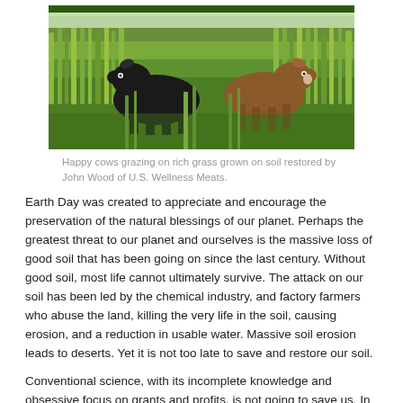[Figure (photo): Two cows, one black and one brown, grazing in tall green grass in a field.]
Happy cows grazing on rich grass grown on soil restored by John Wood of U.S. Wellness Meats.
Earth Day was created to appreciate and encourage the preservation of the natural blessings of our planet. Perhaps the greatest threat to our planet and ourselves is the massive loss of good soil that has been going on since the last century. Without good soil, most life cannot ultimately survive. The attack on our soil has been led by the chemical industry, and factory farmers who abuse the land, killing the very life in the soil, causing erosion, and a reduction in usable water. Massive soil erosion leads to deserts. Yet it is not too late to save and restore our soil.
Conventional science, with its incomplete knowledge and obsessive focus on grants and profits, is not going to save us. In fact, it is the products of conventional science, such as pesticides, artificial